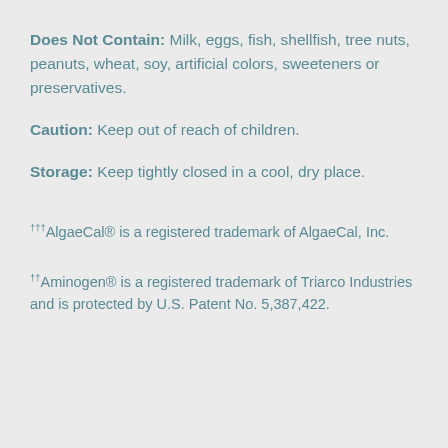Does Not Contain: Milk, eggs, fish, shellfish, tree nuts, peanuts, wheat, soy, artificial colors, sweeteners or preservatives.
Caution: Keep out of reach of children.
Storage: Keep tightly closed in a cool, dry place.
†††AlgaeCal® is a registered trademark of AlgaeCal, Inc.
††Aminogen® is a registered trademark of Triarco Industries and is protected by U.S. Patent No. 5,387,422.